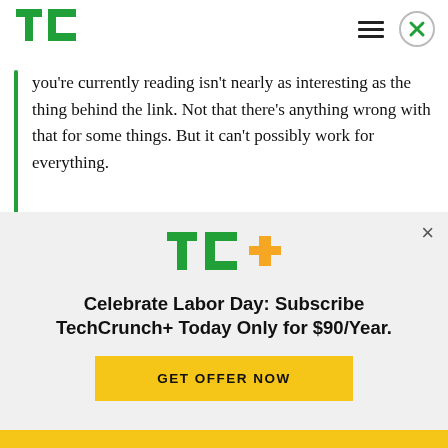[Figure (logo): TechCrunch TC logo in green]
you're currently reading isn't nearly as interesting as the thing behind the link. Not that there's anything wrong with that for some things. But it can't possibly work for everything.
When I read that, I did a double-take and asked Quittner whether he was he actually suggesting removing the links from digital magazines. He
[Figure (logo): TechCrunch TC+ logo with green TC and orange + symbol]
Celebrate Labor Day: Subscribe TechCrunch+ Today Only for $90/Year.
GET OFFER NOW